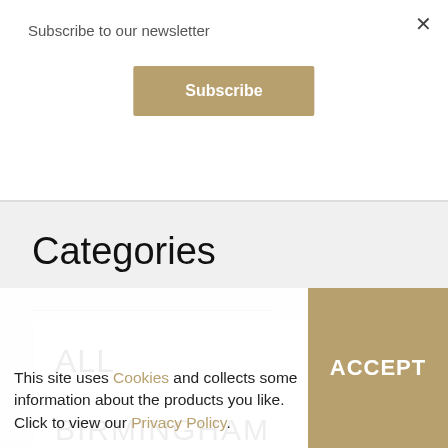Subscribe to our newsletter
Subscribe
Categories
ALL
BIRMINGHAM
This site uses Cookies and collects some information about the products you like. Click to view our Privacy Policy.
ACCEPT